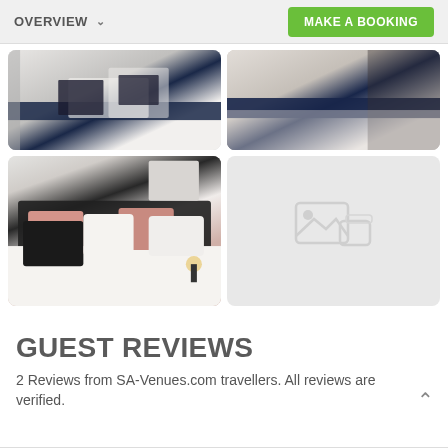OVERVIEW | MAKE A BOOKING
[Figure (photo): Hotel bedroom with white bedding and dark navy runner, black pillows — top-left photo]
[Figure (photo): Hotel bedroom close-up with dark navy runner on white bedding — top-right photo]
[Figure (photo): Hotel bedroom with salmon/black pillows, white bedding, dark headboard, bedside lamp — bottom-left photo]
[Figure (other): Placeholder image tile with generic image icon]
GUEST REVIEWS
2 Reviews from SA-Venues.com travellers. All reviews are verified.